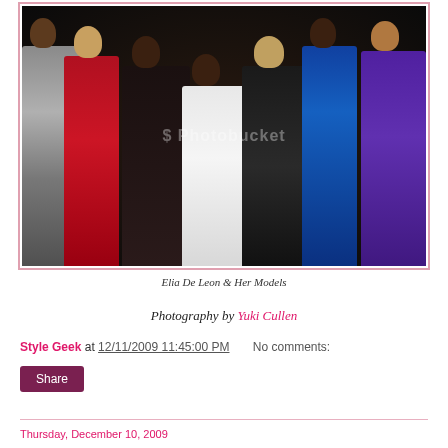[Figure (photo): Group photo of Elia De Leon and her models posing together at what appears to be a formal event or fashion show. Women are dressed in formal gowns including gray, red, white, black, blue, and purple dresses. Photo has a Photobucket watermark.]
Elia De Leon & Her Models
Photography by Yuki Cullen
Style Geek at 12/11/2009 11:45:00 PM    No comments:
Share